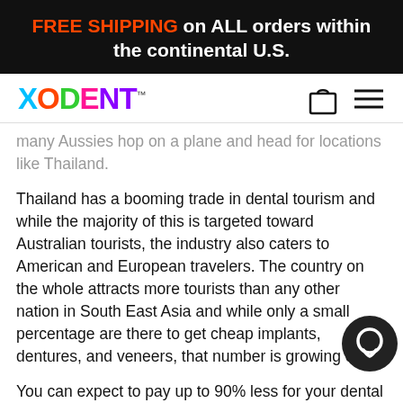FREE SHIPPING on ALL orders within the continental U.S.
[Figure (logo): XODENT colorful logo with shopping bag and hamburger menu icons]
many Aussies hop on a plane and head for locations like Thailand.
Thailand has a booming trade in dental tourism and while the majority of this is targeted toward Australian tourists, the industry also caters to American and European travelers. The country on the whole attracts more tourists than any other nation in South East Asia and while only a small percentage are there to get cheap implants, dentures, and veneers, that number is growing eve...
You can expect to pay up to 90% less for your dental